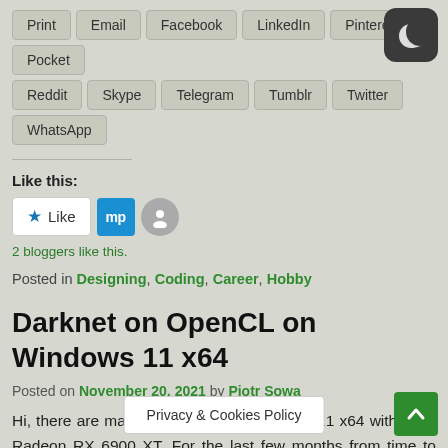Print | Email | Facebook | LinkedIn | Pinterest | Pocket | Reddit | Skype | Telegram | Tumblr | Twitter | WhatsApp
Like this:
2 bloggers like this.
Posted in Designing, Coding, Career, Hobby
Darknet on OpenCL on Windows 11 x64
Posted on November 20, 2021 by Piotr Sowa
Hi, there are many challenges on Windows 11 x64 with AMD Radeon RX 6900 XT. For the last few months from time to time, I started to try to build on Windows 10 x64 first... Windows
Privacy & Cookies Policy